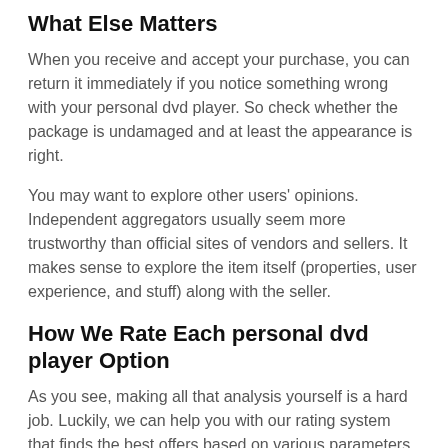What Else Matters
When you receive and accept your purchase, you can return it immediately if you notice something wrong with your personal dvd player. So check whether the package is undamaged and at least the appearance is right.
You may want to explore other users' opinions. Independent aggregators usually seem more trustworthy than official sites of vendors and sellers. It makes sense to explore the item itself (properties, user experience, and stuff) along with the seller.
How We Rate Each personal dvd player Option
As you see, making all that analysis yourself is a hard job. Luckily, we can help you with our rating system that finds the best offers based on various parameters